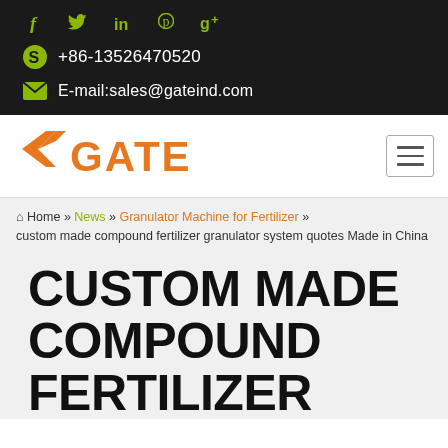Social icons: f, Twitter, in, Pinterest, g+
+86-13526470520
E-mail:sales@gateind.com
[Figure (logo): GATE company logo in orange with stylized G icon]
Home » News » Granulator Machine for Fertilizer » custom made compound fertilizer granulator system quotes Made in China
CUSTOM MADE COMPOUND FERTILIZER